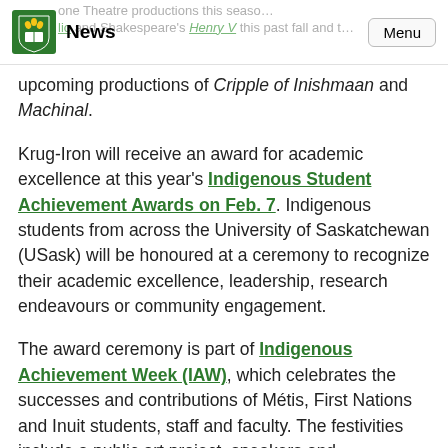News | Menu
upcoming productions of Cripple of Inishmaan and Machinal.
Krug-Iron will receive an award for academic excellence at this year's Indigenous Student Achievement Awards on Feb. 7. Indigenous students from across the University of Saskatchewan (USask) will be honoured at a ceremony to recognize their academic excellence, leadership, research endeavours or community engagement.
The award ceremony is part of Indigenous Achievement Week (IAW), which celebrates the successes and contributions of Métis, First Nations and Inuit students, staff and faculty. The festivities include a public art project, speakers and celebrations